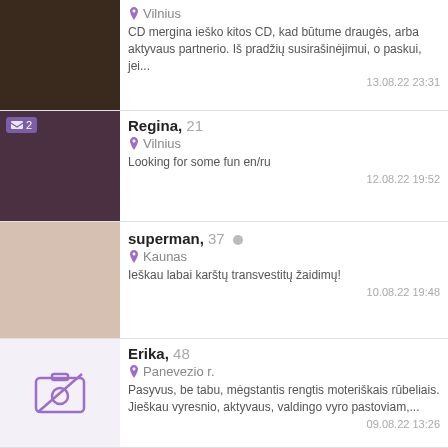Vilnius
CD mergina ieško kitos CD, kad būtume draugės, arba aktyvaus partnerio. Iš pradžių susirašinėjimui, o paskui, jei...
13.08.22 23:31
Regina, 21
Vilnius
Looking for some fun en/ru
12.08.22 19:52
superman, 37
Kaunas
Ieškau labai karštų transvestitų žaidimų!
10.08.22 19:48
Erika, 48
Panevezio r.
Pasyvus, be tabu, mėgstantis rengtis moteriškais rūbeliais. Jieškau vyresnio, aktyvaus, valdingo vyro pastoviam,...
09.08.22 13:26
Lilly, 25